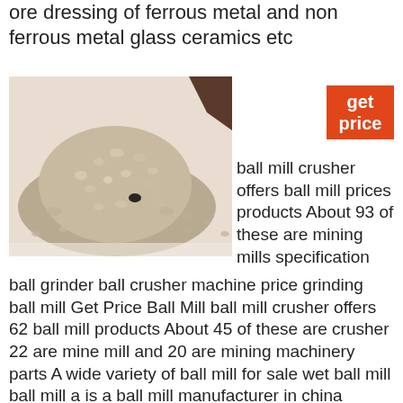ore dressing of ferrous metal and non ferrous metal glass ceramics etc
[Figure (photo): Pile of small light-colored granular material (crushed ore/mineral grains) on a white surface]
get price
ball mill crusher offers ball mill prices products About 93 of these are mining mills specification
ball grinder ball crusher machine price grinding ball mill Get Price Ball Mill ball mill crusher offers 62 ball mill products About 45 of these are crusher 22 are mine mill and 20 are mining machinery parts A wide variety of ball mill for sale wet ball mill ball mill a is a ball mill manufacturer in china supplies ball milling machine ball mill parts maintenance a offer ball mill parts for sale